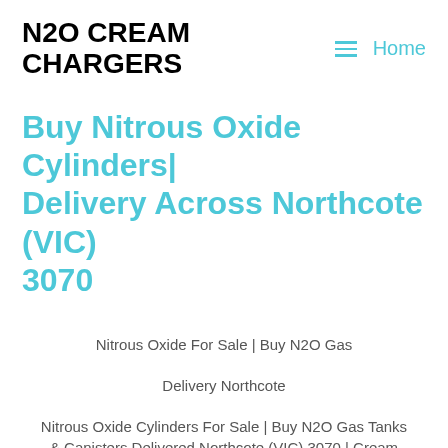N2O CREAM CHARGERS   Home
Buy Nitrous Oxide Cylinders| Delivery Across Northcote (VIC) 3070
Nitrous Oxide For Sale | Buy N2O Gas
Delivery Northcote
Nitrous Oxide Cylinders For Sale | Buy N2O Gas Tanks & Canisters Delivered Northcote (VIC) 3070 | Cream